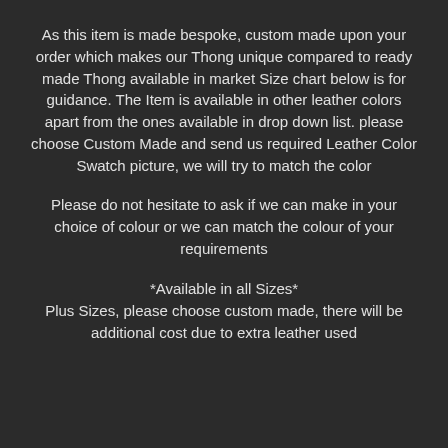As this item is made bespoke, custom made upon your order which makes our Thong unique compared to ready made Thong available in market Size chart below is for guidance. The Item is available in other leather colors apart from the ones available in drop down list. please choose Custom Made and send us required Leather Color Swatch picture, we will try to match the color
Please do not hesitate to ask if we can make in your choice of colour or we can match the colour of your requirements
*Available in all Sizes*
Plus Sizes, please choose custom made, there will be additional cost due to extra leather used